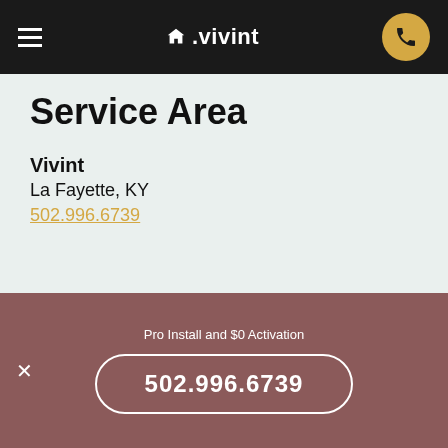△.vivint
Service Area
Vivint
La Fayette, KY
502.996.6739
Call us today!
Mon-Fri  6am-11pm MT
Saturday 9am-9pm MT
Sunday   7am-9pm MT
Pro Install and $0 Activation
502.996.6739